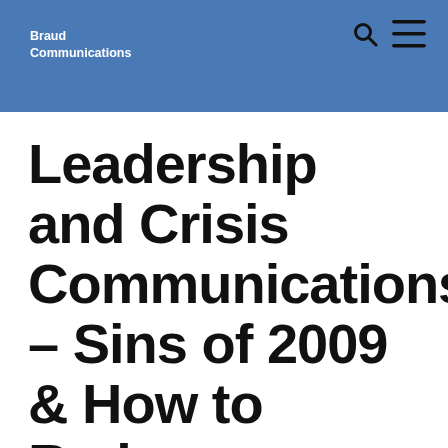Braud Communications
Leadership and Crisis Communications – Sins of 2009 & How to Redeem Yourself in 2010